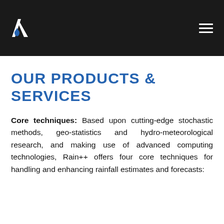[Figure (logo): Company logo with blue water drop and white letter A on dark background, with hamburger menu icon on the right]
OUR PRODUCTS & SERVICES
Core techniques: Based upon cutting-edge stochastic methods, geo-statistics and hydro-meteorological research, and making use of advanced computing technologies, Rain++ offers four core techniques for handling and enhancing rainfall estimates and forecasts: